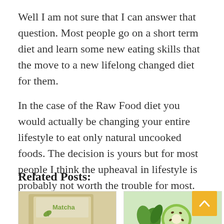Well I am not sure that I can answer that question. Most people go on a short term diet and learn some new eating skills that the move to a new lifelong changed diet for them.
In the case of the Raw Food diet you would actually be changing your entire lifestyle to eat only natural uncooked foods. The decision is yours but for most people I think the upheaval in lifestyle is probably not worth the trouble for most.
Related Posts:
[Figure (photo): Photo of Matcha product packaging with green tea leaf logo]
[Figure (photo): Photo of green vegetables and kiwi fruit]